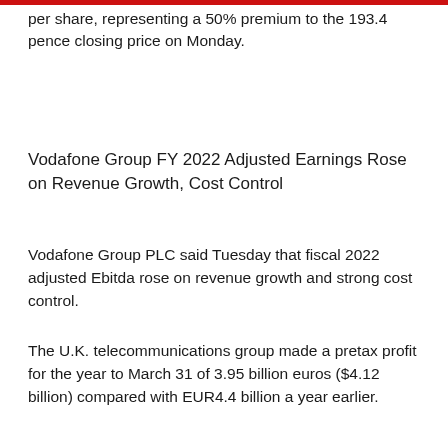per share, representing a 50% premium to the 193.4 pence closing price on Monday.
Vodafone Group FY 2022 Adjusted Earnings Rose on Revenue Growth, Cost Control
Vodafone Group PLC said Tuesday that fiscal 2022 adjusted Ebitda rose on revenue growth and strong cost control.
The U.K. telecommunications group made a pretax profit for the year to March 31 of 3.95 billion euros ($4.12 billion) compared with EUR4.4 billion a year earlier.